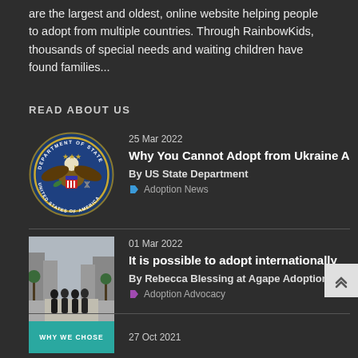are the largest and oldest, online website helping people to adopt from multiple countries. Through RainbowKids, thousands of special needs and waiting children have found families...
READ ABOUT US
[Figure (logo): US Department of State seal / eagle emblem]
25 Mar 2022
Why You Cannot Adopt from Ukraine A
By US State Department
Adoption News
[Figure (photo): Group of people standing on a city street with buildings in background]
01 Mar 2022
It is possible to adopt internationally
By Rebecca Blessing at Agape Adoption
Adoption Advocacy
[Figure (photo): WHY WE CHOSE text overlay image placeholder]
27 Oct 2021